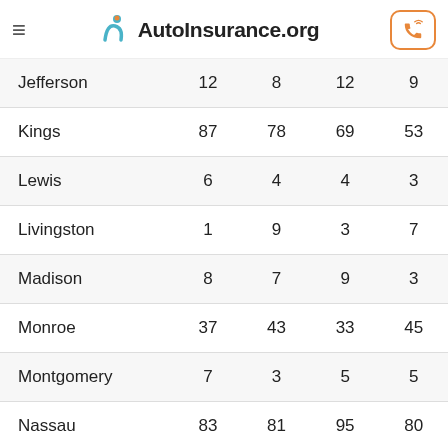AutoInsurance.org
| County | Col1 | Col2 | Col3 | Col4 |
| --- | --- | --- | --- | --- |
| Jefferson | 12 | 8 | 12 | 9 |
| Kings | 87 | 78 | 69 | 53 |
| Lewis | 6 | 4 | 4 | 3 |
| Livingston | 1 | 9 | 3 | 7 |
| Madison | 8 | 7 | 9 | 3 |
| Monroe | 37 | 43 | 33 | 45 |
| Montgomery | 7 | 3 | 5 | 5 |
| Nassau | 83 | 81 | 95 | 80 |